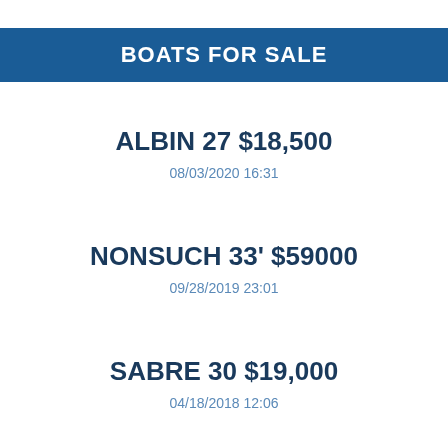BOATS FOR SALE
ALBIN 27 $18,500
08/03/2020 16:31
NONSUCH 33' $59000
09/28/2019 23:01
SABRE 30 $19,000
04/18/2018 12:06